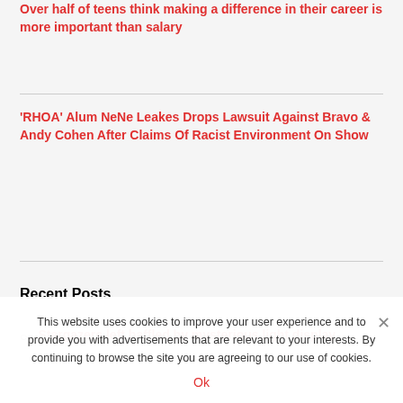Over half of teens think making a difference in their career is more important than salary
'RHOA' Alum NeNe Leakes Drops Lawsuit Against Bravo & Andy Cohen After Claims Of Racist Environment On Show
Recent Posts
Stargazers left baffled by mysterious light display
This website uses cookies to improve your user experience and to provide you with advertisements that are relevant to your interests. By continuing to browse the site you are agreeing to our use of cookies.
Ok